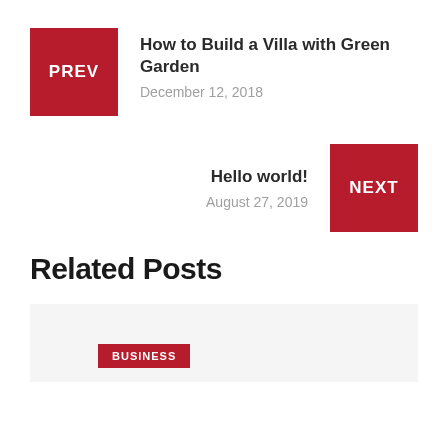PREV
How to Build a Villa with Green Garden
December 12, 2018
Hello world!
August 27, 2019
NEXT
Related Posts
BUSINESS